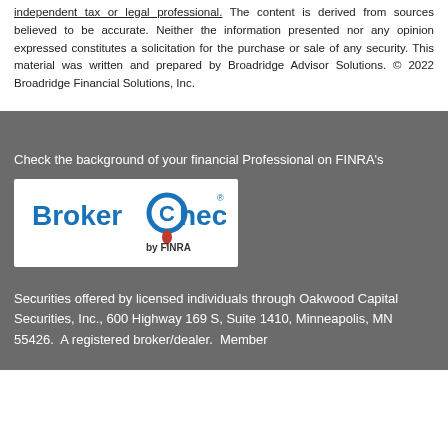independent tax or legal professional. The content is derived from sources believed to be accurate. Neither the information presented nor any opinion expressed constitutes a solicitation for the purchase or sale of any security. This material was written and prepared by Broadridge Advisor Solutions. © 2022 Broadridge Financial Solutions, Inc.
Check the background of your financial Professional on FINRA's
[Figure (logo): BrokerCheck by FINRA logo — blue and red text on white background]
Securities offered by licensed individuals through Oakwood Capital Securities, Inc., 600 Highway 169 S, Suite 1410, Minneapolis, MN 55426. A registered broker/dealer. Member